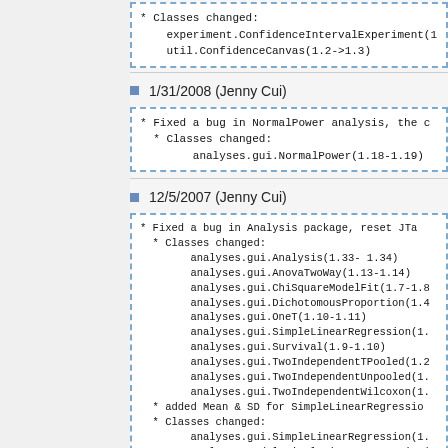* Classes changed:
    experiment.ConfidenceIntervalExperiment(1...
    util.ConfidenceCanvas(1.2->1.3)
1/31/2008 (Jenny Cui)
* Fixed a bug in NormalPower analysis, the...
* Classes changed:
      analyses.gui.NormalPower(1.18-1.19)
12/5/2007 (Jenny Cui)
* Fixed a bug in Analysis package, reset JT...
* Classes changed:
      analyses.gui.Analysis(1.33- 1.34)
      analyses.gui.AnovaTwoWay(1.13-1.14)
      analyses.gui.ChiSquareModelFit(1.7-1.8...
      analyses.gui.DichotomousProportion(1.4...
      analyses.gui.OneT(1.10-1.11)
      analyses.gui.SimpleLinearRegression(1....
      analyses.gui.Survival(1.9-1.10)
      analyses.gui.TwoIndependentTPooled(1.2...
      analyses.gui.TwoIndependentUnpooled(1....
      analyses.gui.TwoIndependentWilcoxon(1....
* added Mean & SD for SimpleLinearRegression...
* Classes changed:
      analyses.gui.SimpleLinearRegression(1....
      analyses.model.SimpleLinearRegression(...
      analyses.result.SimpleLinearRegressionR...
11/28/2007 (Jenny Cui)